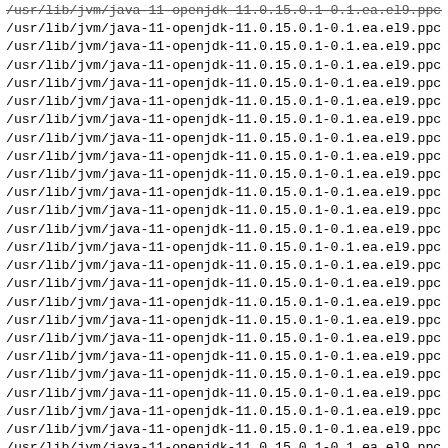/usr/lib/jvm/java-11-openjdk-11.0.15.0.1-0.1.ea.el9.ppc64 (repeated lines, truncated on right)